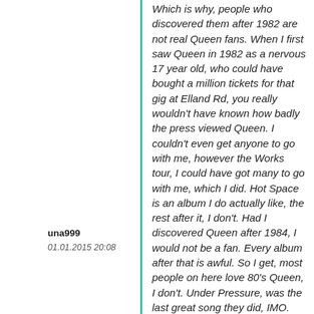una999
01.01.2015 20:08
Which is why, people who discovered them after 1982 are not real Queen fans. When I first saw Queen in 1982 as a nervous 17 year old, who could have bought a million tickets for that gig at Elland Rd, you really wouldn't have known how badly the press viewed Queen. I couldn't even get anyone to go with me, however the Works tour, I could have got many to go with me, which I did. Hot Space is an album I do actually like, the rest after it, I don't. Had I discovered Queen after 1984, I would not be a fan. Every album after that is awful. So I get, most people on here love 80's Queen, I don't. Under Pressure, was the last great song they did, IMO. Tonights gig, was dreadful. I expect to get trolled. But if Roger and Brian want a frog singing..., then I don't. I have paid so much more money for Queen stuff than 80's and beyond